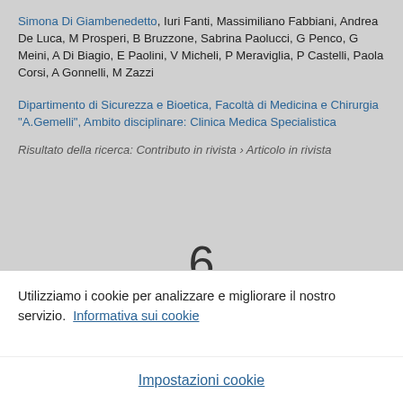Simona Di Giambenedetto, Iuri Fanti, Massimiliano Fabbiani, Andrea De Luca, M Prosperi, B Bruzzone, Sabrina Paolucci, G Penco, G Meini, A Di Biagio, E Paolini, V Micheli, P Meraviglia, P Castelli, Paola Corsi, A Gonnelli, M Zazzi
Dipartimento di Sicurezza e Bioetica, Facoltà di Medicina e Chirurgia "A.Gemelli", Ambito disciplinare: Clinica Medica Specialistica
Risultato della ricerca: Contributo in rivista › Articolo in rivista
6
Utilizziamo i cookie per analizzare e migliorare il nostro servizio. Informativa sui cookie
Impostazioni cookie